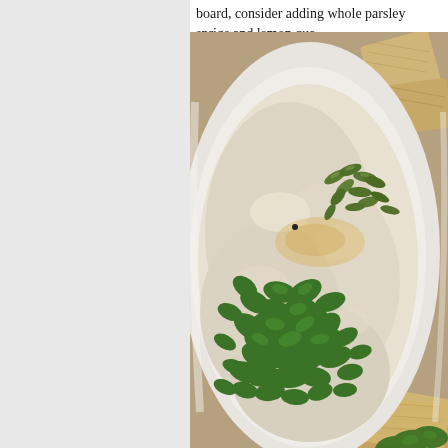board, consider adding whole parsley sprigs and lemon qua...
[Figure (photo): A white bowl filled with a creamy dip (likely hummus or white bean dip) topped with freshly chopped parsley and green pumpkin seeds (pepitas), with pita crackers visible at the edges.]